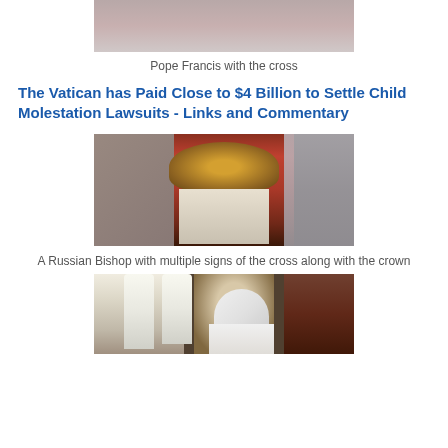[Figure (photo): Partial photo of Pope Francis with the cross, cropped at top]
Pope Francis with the cross
The Vatican has Paid Close to $4 Billion to Settle Child Molestation Lawsuits - Links and Commentary
[Figure (photo): A Russian Bishop in ornate red vestments holding a golden cross staff, wearing an elaborate crown/mitre]
A Russian Bishop with multiple signs of the cross along with the crown
[Figure (photo): A bishop in white vestments with mitre, standing near candles]